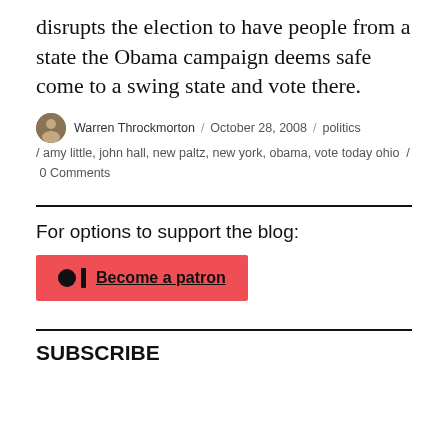disrupts the election to have people from a state the Obama campaign deems safe come to a swing state and vote there.
Warren Throckmorton / October 28, 2008 / politics / amy little, john hall, new paltz, new york, obama, vote today ohio / 0 Comments
For options to support the blog:
[Figure (other): Patreon button with logo icon and text 'Become a patron']
SUBSCRIBE